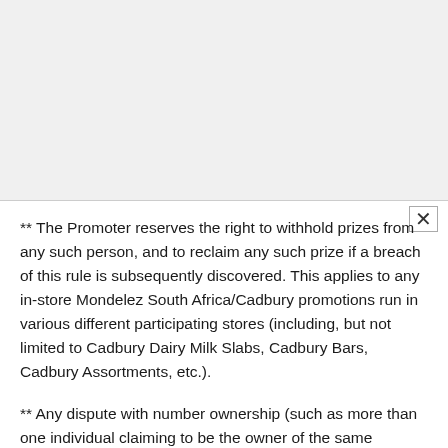** The Promoter reserves the right to withhold prizes from any such person, and to reclaim any such prize if a breach of this rule is subsequently discovered. This applies to any in-store Mondelez South Africa/Cadbury promotions run in various different participating stores (including, but not limited to Cadbury Dairy Milk Slabs, Cadbury Bars, Cadbury Assortments, etc.).
** Any dispute with number ownership (such as more than one individual claiming to be the owner of the same number – verbally or otherwise) will result in immediate disqualification of both the number and the individual and no person will be compensated in any